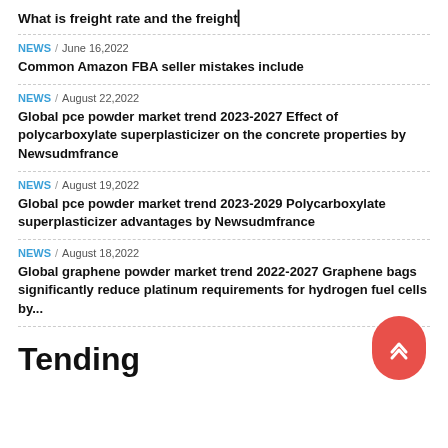What is freight rate and the freight
NEWS / June 16,2022
Common Amazon FBA seller mistakes include
NEWS / August 22,2022
Global pce powder market trend 2023-2027 Effect of polycarboxylate superplasticizer on the concrete properties by Newsudmfrance
NEWS / August 19,2022
Global pce powder market trend 2023-2029 Polycarboxylate superplasticizer advantages by Newsudmfrance
NEWS / August 18,2022
Global graphene powder market trend 2022-2027 Graphene bags significantly reduce platinum requirements for hydrogen fuel cells by...
Tending